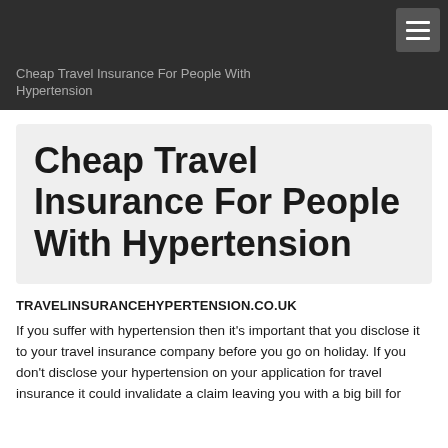Cheap Travel Insurance For People With Hypertension
Cheap Travel Insurance For People With Hypertension
TRAVELINSURANCEHYPERTENSION.CO.UK
If you suffer with hypertension then it's important that you disclose it to your travel insurance company before you go on holiday. If you don't disclose your hypertension on your application for travel insurance it could invalidate a claim leaving you with a big bill for